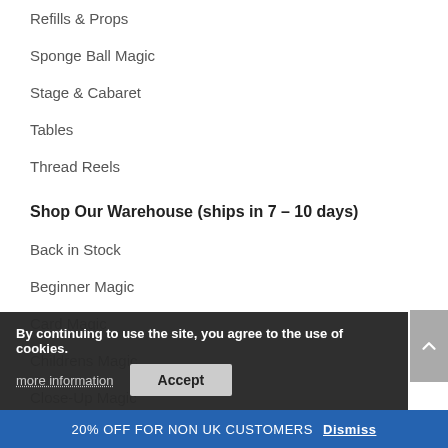Refills & Props
Sponge Ball Magic
Stage & Cabaret
Tables
Thread Reels
Shop Our Warehouse (ships in 7 – 10 days)
Back in Stock
Beginner Magic
Card Magic
Childrens Magic
Close-Up Magic
Magic Accessories
Magic Books
By continuing to use the site, you agree to the use of cookies.
more information
Accept
20% OFF FOR NON UK CUSTOMERS Dismiss